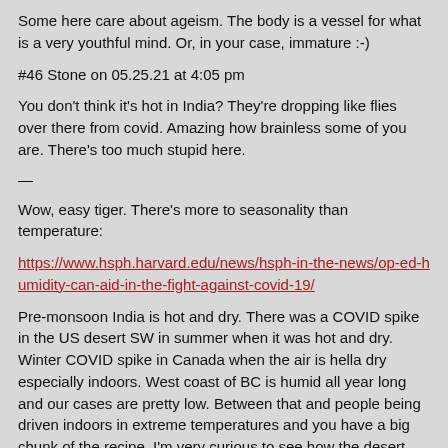Some here care about ageism. The body is a vessel for what is a very youthful mind. Or, in your case, immature :-)
#46 Stone on 05.25.21 at 4:05 pm
You don't think it's hot in India? They're dropping like flies over there from covid. Amazing how brainless some of you are. There's too much stupid here.
—
Wow, easy tiger. There's more to seasonality than temperature:
https://www.hsph.harvard.edu/news/hsph-in-the-news/op-ed-humidity-can-aid-in-the-fight-against-covid-19/
Pre-monsoon India is hot and dry. There was a COVID spike in the US desert SW in summer when it was hot and dry. Winter COVID spike in Canada when the air is hella dry especially indoors. West coast of BC is humid all year long and our cases are pretty low. Between that and people being driven indoors in extreme temperatures and you have a big chunk of the recipe. I'm very curious to see how the desert SW fares in the coming months as the heat comes on yet people are vaccinated.